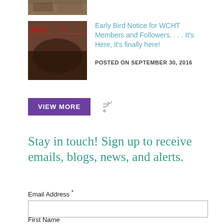[Figure (photo): Partial cropped image of a book or historical scene at top]
[Figure (photo): Thumbnail image for blog post titled 'Rebel 61' showing Civil War battle scene]
Early Bird Notice for WCHT Members and Followers. . . . It's Here, it's finally here!
POSTED ON SEPTEMBER 30, 2016
VIEW MORE
Stay in touch! Sign up to receive emails, blogs, news, and alerts.
Email Address *
First Name
Last Name